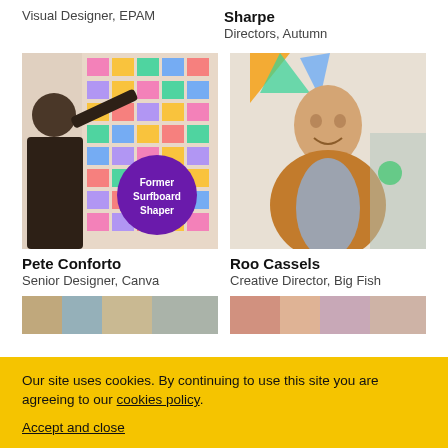Visual Designer, EPAM
Sharpe
Directors, Autumn
[Figure (photo): Man with beard pointing at a wall covered in colourful sticky notes and cards. A purple circle badge reads 'Former Surfboard Shaper'.]
Pete Conforto
Senior Designer, Canva
[Figure (photo): Young man smiling in a creative workspace with colourful decorations in the background.]
Roo Cassels
Creative Director, Big Fish
[Figure (photo): Partial view of photo strip at bottom of page, left side.]
[Figure (photo): Partial view of photo strip at bottom of page, right side.]
Our site uses cookies. By continuing to use this site you are agreeing to our cookies policy.
Accept and close